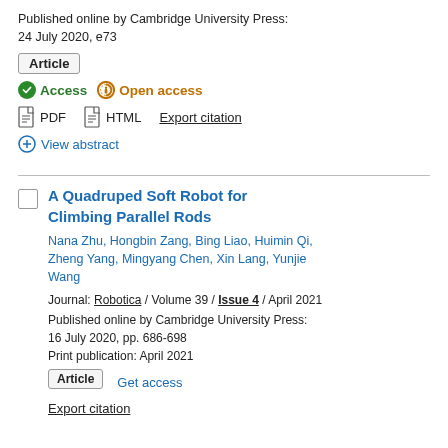Published online by Cambridge University Press: 24 July 2020, e73
Article
Access   Open access
PDF   HTML   Export citation
View abstract
A Quadruped Soft Robot for Climbing Parallel Rods
Nana Zhu, Hongbin Zang, Bing Liao, Huimin Qi, Zheng Yang, Mingyang Chen, Xin Lang, Yunjie Wang
Journal: Robotica / Volume 39 / Issue 4 / April 2021
Published online by Cambridge University Press: 16 July 2020, pp. 686-698
Print publication: April 2021
Article   Get access
Export citation